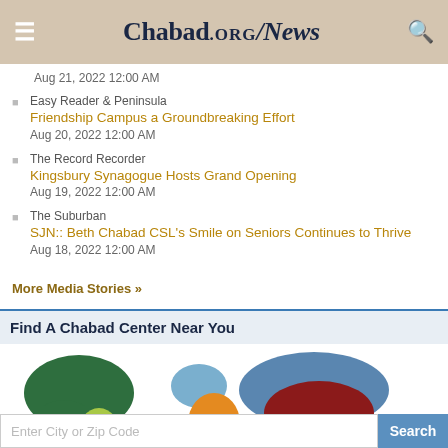Chabad.ORG / News
Aug 21, 2022 12:00 AM
Easy Reader & Peninsula
Friendship Campus a Groundbreaking Effort
Aug 20, 2022 12:00 AM
The Record Recorder
Kingsbury Synagogue Hosts Grand Opening
Aug 19, 2022 12:00 AM
The Suburban
SJN:: Beth Chabad CSL's Smile on Seniors Continues to Thrive
Aug 18, 2022 12:00 AM
More Media Stories »
Find A Chabad Center Near You
[Figure (map): Colorful world map showing continents in different colors: North America in dark green, South America in yellow-green, Europe in blue-gray, Africa in orange, Asia in dark red/burgundy, Oceania in dark red-brown]
Enter City or Zip Code